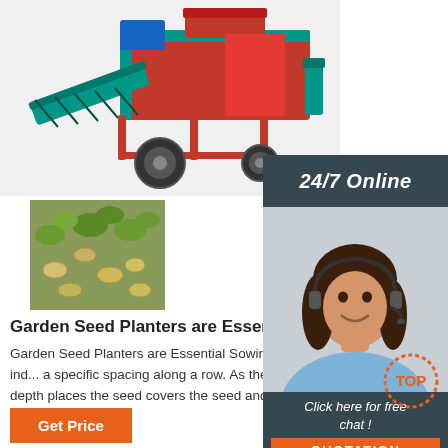[Figure (photo): Red agricultural peanut harvesting/threshing machine with teal/green conveyor belt, wheels, and hopper on white background]
[Figure (photo): Close-up photo of peanuts in the ground/soil with green plants]
[Figure (photo): Close-up photo of harvested peanuts piled together]
[Figure (photo): Customer service agent - smiling woman wearing headset, with 24/7 Online label and Click here for free chat / QUOTATION button overlay]
Garden Seed Planters are Essential Sowing Too...
Garden Seed Planters are Essential Sowing Tools ... seed planter is a precision machine that places ind... a specific spacing along a row. As the planter moves along the row it opens the soil to a specific depth places the seed covers the seed and provides some means for pressing the soil into contact with the seed ...
[Figure (logo): TOP badge/logo with dotted orange circle and orange text TOP]